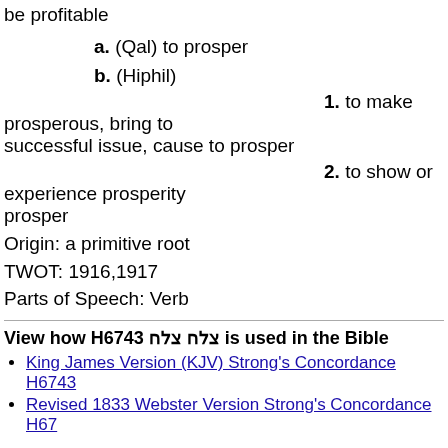be profitable
a. (Qal) to prosper
b. (Hiphil)
1. to make prosperous, bring to successful issue, cause to prosper
2. to show or experience prosperity prosper
Origin: a primitive root
TWOT: 1916,1917
Parts of Speech: Verb
View how H6743 צלח צלח is used in the Bible
King James Version (KJV) Strong's Concordance H6743
Revised 1833 Webster Version Strong's Concordance H67...